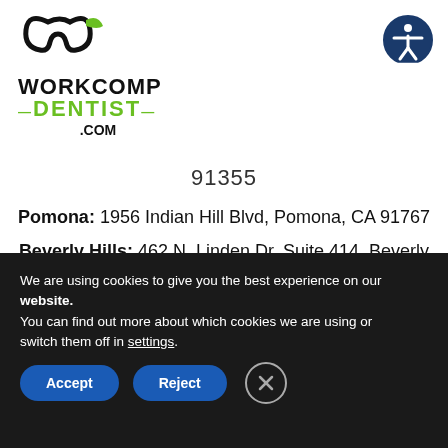[Figure (logo): WorkComp Dentist .com logo with black curved dental icon above text]
[Figure (other): Circular accessibility icon (person in circle) in dark blue, top right]
91355
Pomona: 1956 Indian Hill Blvd, Pomona, CA 91767
Beverly Hills: 462 N. Linden Dr, Suite 414, Beverly Hills, CA 90210
Orange County: 1401 Avocado Ave, Suite 206, Newport Beach, CA 92660
We are using cookies to give you the best experience on our website.
You can find out more about which cookies we are using or switch them off in settings.